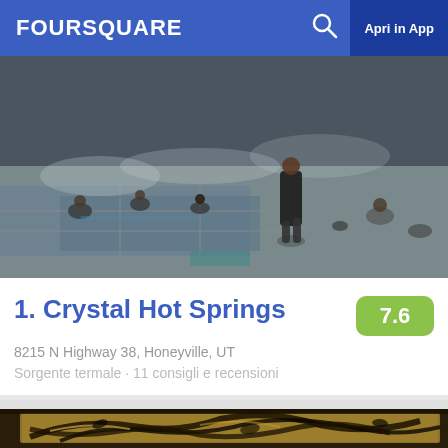FOURSQUARE  Apri in App
[Figure (photo): Outdoor hot springs pool with people bathing and relaxing on stone pavers; steam visible; shot in low light]
1. Crystal Hot Springs
8215 N Highway 38, Honeyville, UT
Sorgente termale · 11 consigli e recensioni
[Figure (photo): Close-up of Persian/Arabic calligraphy artwork with gold and dark ink script on a large framed panel]